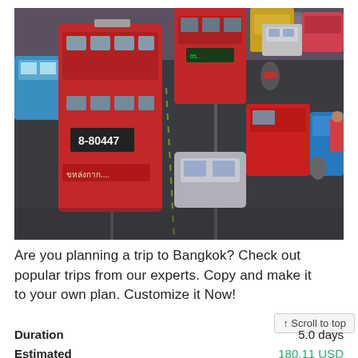[Figure (photo): Busy Bangkok street traffic with red double-decker buses, taxis, cars, and motorcycles in heavy congestion, viewed from above at an angle.]
Are you planning a trip to Bangkok? Check out popular trips from our experts. Copy and make it to your own plan. Customize it Now!
↑ Scroll to top
Duration    5.0 days
Estimated    180.11 USD